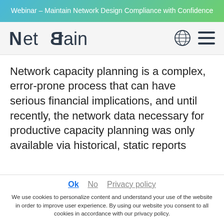Webinar – Maintain Network Design Compliance with Confidence
[Figure (logo): NetBrain logo with globe and hamburger menu icons in navigation bar]
Network capacity planning is a complex, error-prone process that can have serious financial implications, and until recently, the network data necessary for productive capacity planning was only available via historical, static reports
Ok  No  Privacy policy
We use cookies to personalize content and understand your use of the website in order to improve user experience. By using our website you consent to all cookies in accordance with our privacy policy.